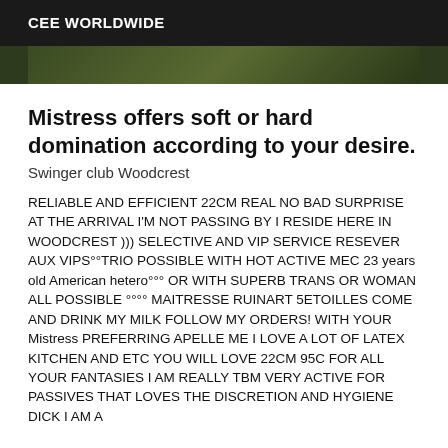CEE WORLDWIDE
[Figure (photo): Partial view of a person outdoors with green foliage background]
Mistress offers soft or hard domination according to your desire.
Swinger club Woodcrest
RELIABLE AND EFFICIENT 22CM REAL NO BAD SURPRISE AT THE ARRIVAL I'M NOT PASSING BY I RESIDE HERE IN WOODCREST ))) SELECTIVE AND VIP SERVICE RESEVER AUX VIPS°°TRIO POSSIBLE WITH HOT ACTIVE MEC 23 years old American hetero°°° OR WITH SUPERB TRANS OR WOMAN ALL POSSIBLE °°°° MAITRESSE RUINART 5ETOILLES COME AND DRINK MY MILK FOLLOW MY ORDERS! WITH YOUR Mistress PREFERRING APELLE ME I LOVE A LOT OF LATEX KITCHEN AND ETC YOU WILL LOVE 22CM 95C FOR ALL YOUR FANTASIES I AM REALLY TBM VERY ACTIVE FOR PASSIVES THAT LOVES THE DISCRETION AND HYGIENE DICK I AM A